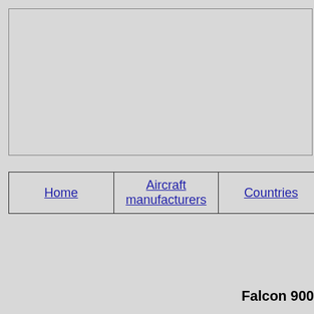[Figure (other): Gray banner/header image placeholder box with border]
| Home | Aircraft manufacturers | Countries |
| --- | --- | --- |
Falcon 900